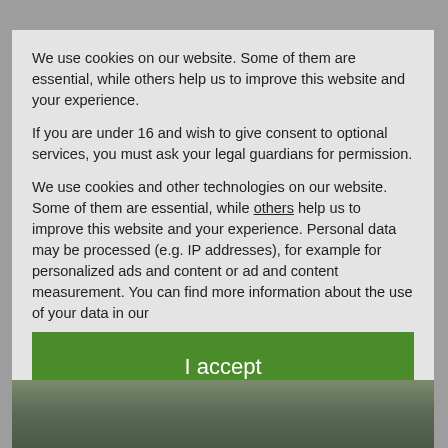[Figure (screenshot): Background website screenshot showing a partially visible article page with a green watermark logo 'noBerlin', a date watermark, and an article headline 'Berlin weather in July: a bit like April in Autumn', with a partially visible photograph below, all overlaid with a semi-transparent grey modal overlay.]
We use cookies on our website. Some of them are essential, while others help us to improve this website and your experience.
If you are under 16 and wish to give consent to optional services, you must ask your legal guardians for permission.
We use cookies and other technologies on our website. Some of them are essential, while others help us to improve this website and your experience. Personal data may be processed (e.g. IP addresses), for example for personalized ads and content or ad and content measurement. You can find more information about the use of your data in our
I accept
Accept only essential cookies